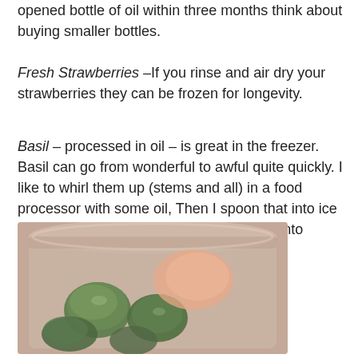opened bottle of oil within three months think about buying smaller bottles.
Fresh Strawberries –If you rinse and air dry your strawberries they can be frozen for longevity.
Basil – processed in oil – is great in the freezer. Basil can go from wonderful to awful quite quickly. I like to whirl them up (stems and all) in a food processor with some oil, Then I spoon that into ice cube trays and freeze. I add them frozen into soups, sauces and stews.
[Figure (photo): A plastic container holding frozen basil cubes (green herb frozen in oil cubes) with some other food items, viewed from above.]